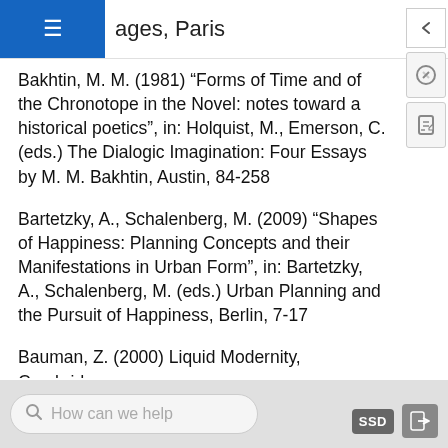ages, Paris
Bakhtin, M. M. (1981) “Forms of Time and of the Chronotope in the Novel: notes toward a historical poetics”, in: Holquist, M., Emerson, C. (eds.) The Dialogic Imagination: Four Essays by M. M. Bakhtin, Austin, 84-258
Bartetzky, A., Schalenberg, M. (2009) “Shapes of Happiness: Planning Concepts and their Manifestations in Urban Form”, in: Bartetzky, A., Schalenberg, M. (eds.) Urban Planning and the Pursuit of Happiness, Berlin, 7-17
Bauman, Z. (2000) Liquid Modernity, Cambridge
Benjamin, W. (1974) Gesammelte Schriften I.2,
How can we help